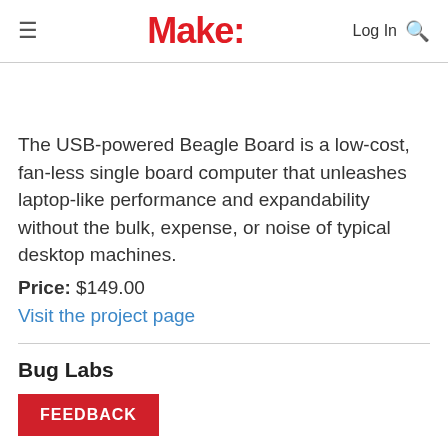Make:
The USB-powered Beagle Board is a low-cost, fan-less single board computer that unleashes laptop-like performance and expandability without the bulk, expense, or noise of typical desktop machines.
Price: $149.00
Visit the project page
Bug Labs
FEEDBACK